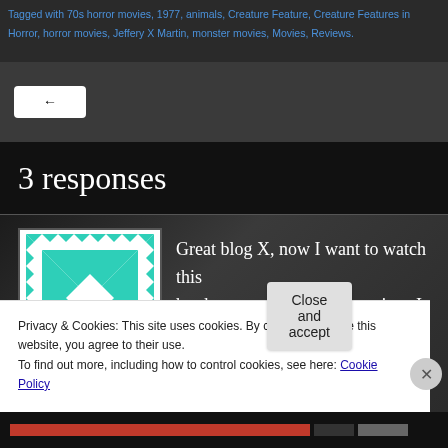Tagged with 70s horror movies, 1977, animals, Creature Feature, Creature Features in Horror, horror movies, Jeffery X Martin, monster movies, Movies, Reviews.
[Figure (screenshot): Navigation back arrow button on dark background]
3 responses
[Figure (illustration): Teal and white geometric X pattern avatar image, commenter avatar]
Great blog X, now I want to watch this has been many many years since I saw
Privacy & Cookies: This site uses cookies. By continuing to use this website, you agree to their use.
To find out more, including how to control cookies, see here: Cookie Policy
Close and accept